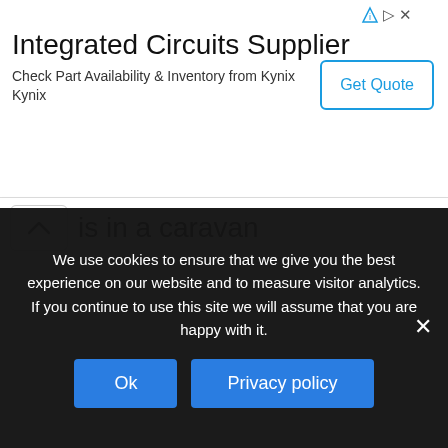[Figure (infographic): Advertisement banner for 'Integrated Circuits Supplier' by Kynix. Includes title, subtitle 'Check Part Availability & Inventory from Kynix Kynix', and a 'Get Quote' button.]
is in a caravan
GEMMA SMITH
MARCH 19, 2016 AT 7:12 PM
Hi Josh,

I was wondering if you can help? I have just came across your website when searching the web for advice on how to
We use cookies to ensure that we give you the best experience on our website and to measure visitor analytics. If you continue to use this site we will assume that you are happy with it.